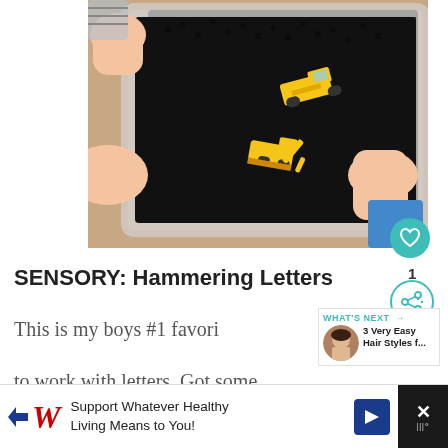[Figure (photo): Overhead view of two children playing with yellow toy construction trucks in a clear plastic bin filled with black beans or seeds, seen from above on a wooden floor.]
SENSORY: Hammering Letters
This is my boys #1 favori
[Figure (photo): What's Next thumbnail showing a child, with text: WHAT'S NEXT → 3 Very Easy Hair Styles f...]
to work with letters. Got some
[Figure (infographic): Advertisement banner: Walgreens logo with tagline 'Support Whatever Healthy Living Means to You!' with navigation arrow button and close button]